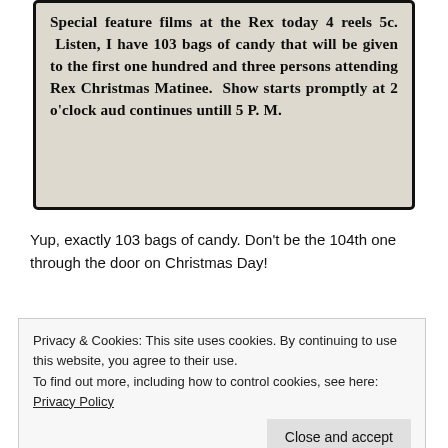[Figure (photo): Scanned newspaper advertisement clipping with bold text advertising special feature films at the Rex with candy giveaway for Christmas Matinee.]
Yup, exactly 103 bags of candy. Don't be the 104th one through the door on Christmas Day!
Privacy & Cookies: This site uses cookies. By continuing to use this website, you agree to their use.
To find out more, including how to control cookies, see here: Privacy Policy
Close and accept